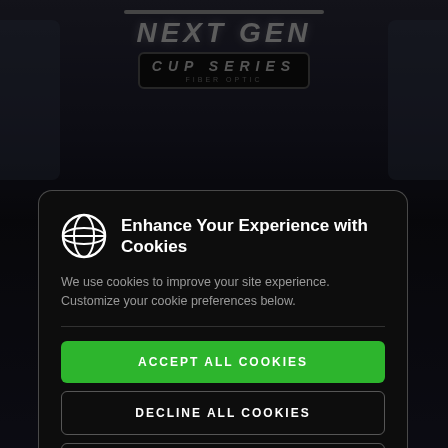[Figure (screenshot): Blurred background showing NASCAR Next Gen Cup Series branding and racing imagery]
Enhance Your Experience with Cookies
We use cookies to improve your site experience. Customize your cookie preferences below.
ACCEPT ALL COOKIES
DECLINE ALL COOKIES
CUSTOMIZE COOKIES